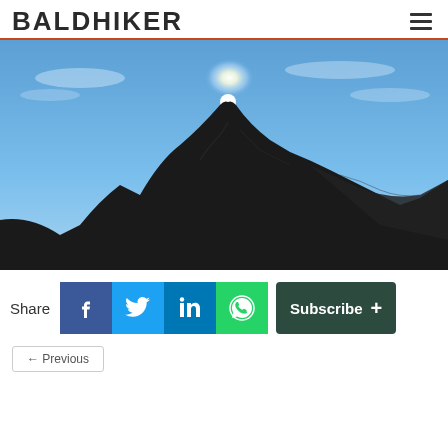BALDHIKER
[Figure (photo): Dramatic silhouette of a rugged mountain peak against a vivid blue sky, with the sun creating a bright halo glow at the summit apex.]
Share
[Figure (infographic): Social share buttons: Facebook (blue), Twitter (light blue), LinkedIn (dark blue), WhatsApp (green), and a dark green Subscribe + button.]